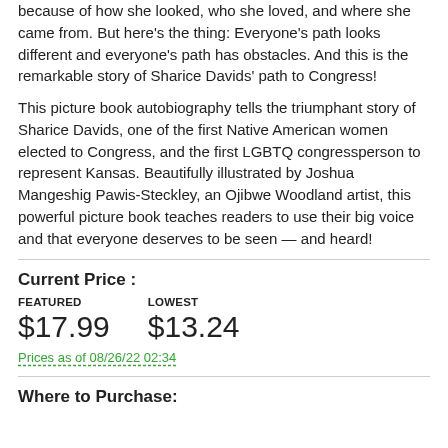because of how she looked, who she loved, and where she came from. But here's the thing: Everyone's path looks different and everyone's path has obstacles. And this is the remarkable story of Sharice Davids' path to Congress!
This picture book autobiography tells the triumphant story of Sharice Davids, one of the first Native American women elected to Congress, and the first LGBTQ congressperson to represent Kansas. Beautifully illustrated by Joshua Mangeshig Pawis-Steckley, an Ojibwe Woodland artist, this powerful picture book teaches readers to use their big voice and that everyone deserves to be seen — and heard!
Current Price :
| FEATURED | LOWEST |
| --- | --- |
| $17.99 | $13.24 |
Prices as of 08/26/22 02:34
Where to Purchase: